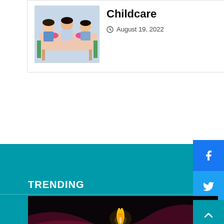[Figure (photo): Children sitting at a table eating, with pink bowls, at a childcare facility]
Childcare
August 19, 2022
[Figure (illustration): Facebook social share button (blue)]
[Figure (illustration): Twitter social share button (blue)]
[Figure (illustration): YouTube social share button (red)]
[Figure (illustration): Instagram social share button (grey)]
TRENDING
[Figure (photo): A lit candle in a glass holder on a dark background with purple/maroon fabric]